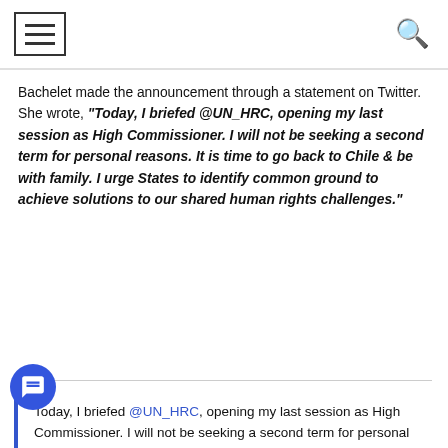[hamburger menu] [search icon]
Bachelet made the announcement through a statement on Twitter. She wrote, “Today, I briefed @UN_HRC, opening my last session as High Commissioner. I will not be seeking a second term for personal reasons. It is time to go back to Chile & be with family. I urge States to identify common ground to achieve solutions to our shared human rights challenges.”
Today, I briefed @UN_HRC, opening my last session as High Commissioner. I will not be seeking a second term for personal reasons. It is time to go back to Chile & be with family. I urge States to identify common ground to